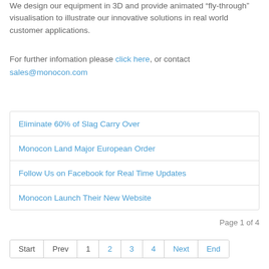We design our equipment in 3D and provide animated "fly-through" visualisation to illustrate our innovative solutions in real world customer applications.
For further infomation please click here, or contact sales@monocon.com
Eliminate 60% of Slag Carry Over
Monocon Land Major European Order
Follow Us on Facebook for Real Time Updates
Monocon Launch Their New Website
Page 1 of 4
Start  Prev  1  2  3  4  Next  End